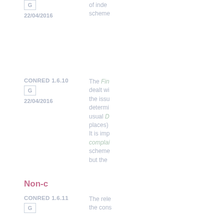of indemn... scheme...
22/04/2016
CONRED 1.6.10
G
22/04/2016
The Fin... dealt wi... the issu... determi... usual D... places). It is imp... complai... scheme... but the ...
Non-c
CONRED 1.6.11
G
The rele... the cons...